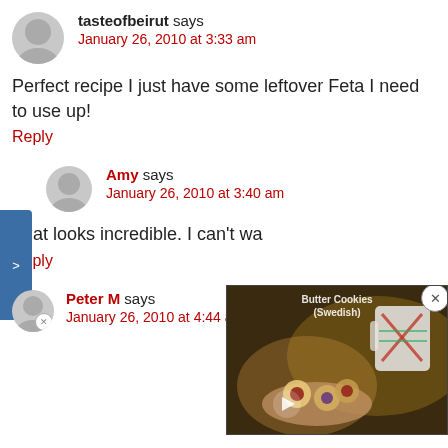tasteofbeirut says
January 26, 2010 at 3:33 am
Perfect recipe I just have some leftover Feta I need to use up!
Reply
Amy says
January 26, 2010 at 3:40 am
That looks incredible. I can't wa
Reply
[Figure (screenshot): Video thumbnail showing Butter Cookies (Swedish) with a mug and cookies being held, with a play button overlay and close (X) button]
Peter M says
January 26, 2010 at 4:44 am